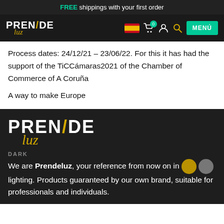FREE shippings with your first order
[Figure (logo): Prendeluz logo in top navigation bar with Spain flag, cart icon with 0 badge, user icon, search icon, and teal MENÚ button]
Process dates: 24/12/21 – 23/06/22. For this it has had the support of the TiCCámaras2021 of the Chamber of Commerce of A Coruña
A way to make Europe
[Figure (logo): Large Prendeluz logo in dark footer section]
DARK
We are Prendeluz, your reference from now on in lighting. Products guaranteed by our own brand, suitable for professionals and individuals.